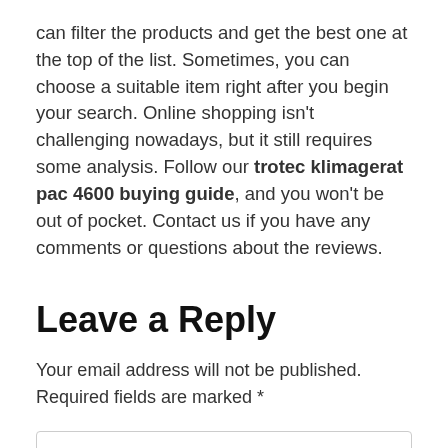can filter the products and get the best one at the top of the list. Sometimes, you can choose a suitable item right after you begin your search. Online shopping isn't challenging nowadays, but it still requires some analysis. Follow our trotec klimagerat pac 4600 buying guide, and you won't be out of pocket. Contact us if you have any comments or questions about the reviews.
Leave a Reply
Your email address will not be published. Required fields are marked *
Name *